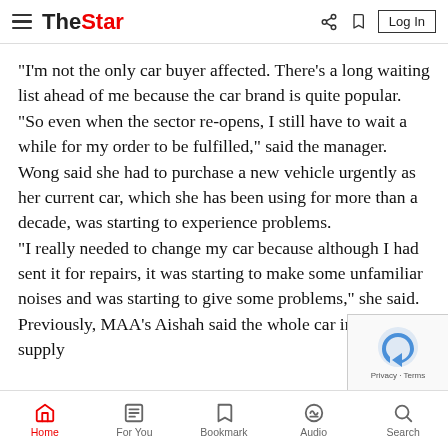The Star — navigation header with hamburger menu, logo, share, bookmark, and Log In button
“I’m not the only car buyer affected. There’s a long waiting list ahead of me because the car brand is quite popular.
“So even when the sector re-opens, I still have to wait a while for my order to be fulfilled,” said the manager.
Wong said she had to purchase a new vehicle urgently as her current car, which she has been using for more than a decade, was starting to experience problems.
“I really needed to change my car because although I had sent it for repairs, it was starting to make some unfamiliar noises and was starting to give some problems,” she said.
Previously, MAA’s Aishah said the whole car industry supply
Home | For You | Bookmark | Audio | Search